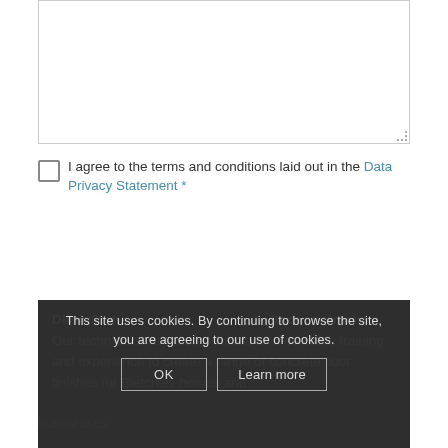[Figure (screenshot): A textarea input box (empty, white background with border and resize handle in bottom-right corner)]
I agree to the terms and conditions laid out in the Data Privacy Statement *
Submit
This site uses cookies. By continuing to browse the site, you are agreeing to our use of cookies.
DirectSton[e] ... floor contractor. Our technicians are professionals who combine training and experience to create a range of concrete floor finishes for Bletchley homes and businesses.